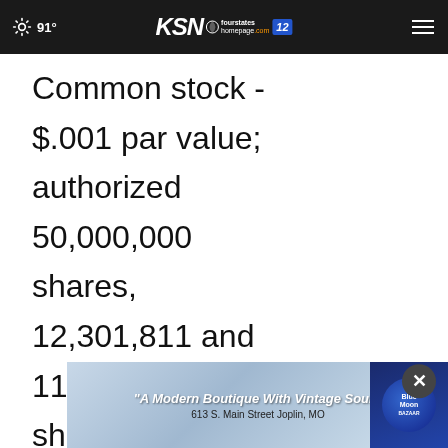91° KSN fourstates homepage.com 12
Common stock - $.001 par value; authorized 50,000,000 shares, 12,301,811 and 11,951,271 shares, respectively, issued and outstanding,
[Figure (screenshot): Blue Moon Boutique advertisement banner: 'A Modern Boutique With Vintage Soul.' 613 S. Main Street Joplin, MO]